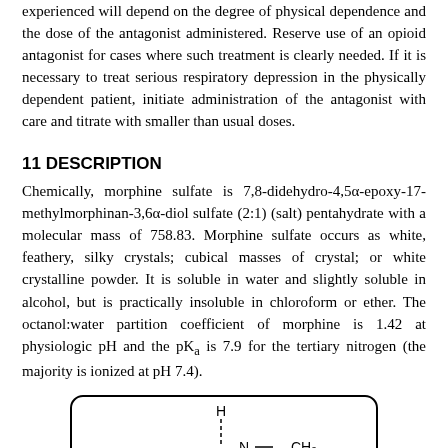experienced will depend on the degree of physical dependence and the dose of the antagonist administered. Reserve use of an opioid antagonist for cases where such treatment is clearly needed. If it is necessary to treat serious respiratory depression in the physically dependent patient, initiate administration of the antagonist with care and titrate with smaller than usual doses.
11 DESCRIPTION
Chemically, morphine sulfate is 7,8-didehydro-4,5α-epoxy-17-methylmorphinan-3,6α-diol sulfate (2:1) (salt) pentahydrate with a molecular mass of 758.83. Morphine sulfate occurs as white, feathery, silky crystals; cubical masses of crystal; or white crystalline powder. It is soluble in water and slightly soluble in alcohol, but is practically insoluble in chloroform or ether. The octanol:water partition coefficient of morphine is 1.42 at physiologic pH and the pKa is 7.9 for the tertiary nitrogen (the majority is ionized at pH 7.4).
[Figure (engineering-diagram): Chemical structure diagram of morphine sulfate showing N-CH3 group, H atom, and ring structures in a rounded rectangle border.]